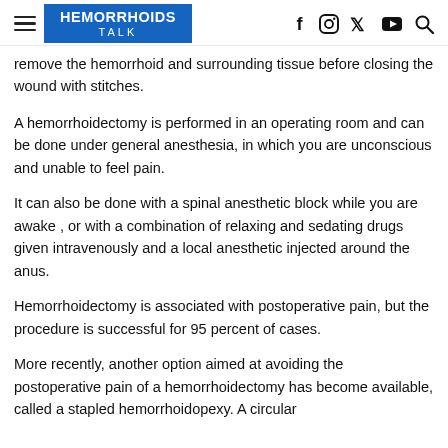HEMORRHOIDS TALK
remove the hemorrhoid and surrounding tissue before closing the wound with stitches.
A hemorrhoidectomy is performed in an operating room and can be done under general anesthesia, in which you are unconscious and unable to feel pain.
It can also be done with a spinal anesthetic block while you are awake , or with a combination of relaxing and sedating drugs given intravenously and a local anesthetic injected around the anus.
Hemorrhoidectomy is associated with postoperative pain, but the procedure is successful for 95 percent of cases.
More recently, another option aimed at avoiding the postoperative pain of a hemorrhoidectomy has become available, called a stapled hemorrhoidopexy. A circular